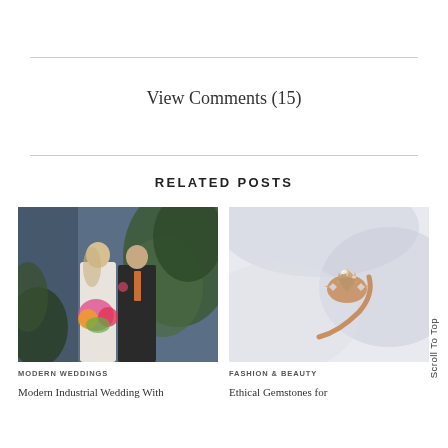View Comments (15)
RELATED POSTS
[Figure (photo): Wedding couple: bride in white lace dress holding colorful bouquet, groom in dark suit with orange tie, standing in front of green foliage against a dark blue-gray background]
MODERN WEDDINGS
Modern Industrial Wedding With
[Figure (photo): Close-up of a rose gold engagement ring with a large champagne/brown diamond center stone and diamond side stones, on a white/light gray fabric background]
FASHION & BEAUTY
Ethical Gemstones for
Scroll To Top